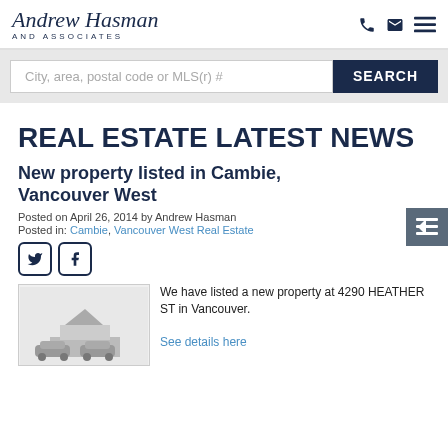[Figure (logo): Andrew Hasman and Associates logo with script text and phone, email, menu icons]
[Figure (screenshot): Search bar with placeholder text 'City, area, postal code or MLS(r) #' and a dark blue SEARCH button]
REAL ESTATE LATEST NEWS
New property listed in Cambie, Vancouver West
Posted on April 26, 2014 by Andrew Hasman
Posted in: Cambie, Vancouver West Real Estate
[Figure (illustration): Twitter and Facebook social share icon buttons]
[Figure (photo): Property photo thumbnail showing a house/building]
We have listed a new property at 4290 HEATHER ST in Vancouver.
See details here